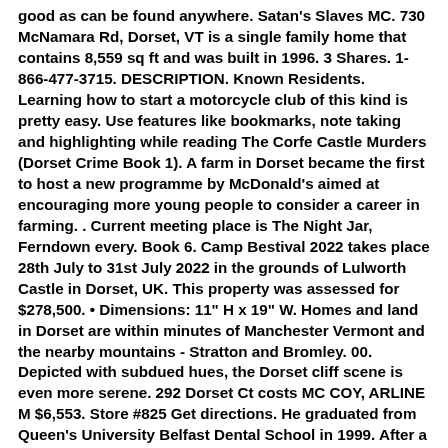good as can be found anywhere. Satan's Slaves MC. 730 McNamara Rd, Dorset, VT is a single family home that contains 8,559 sq ft and was built in 1996. 3 Shares. 1-866-477-3715. DESCRIPTION. Known Residents. Learning how to start a motorcycle club of this kind is pretty easy. Use features like bookmarks, note taking and highlighting while reading The Corfe Castle Murders (Dorset Crime Book 1). A farm in Dorset became the first to host a new programme by McDonald's aimed at encouraging more young people to consider a career in farming. . Current meeting place is The Night Jar, Ferndown every. Book 6. Camp Bestival 2022 takes place 28th July to 31st July 2022 in the grounds of Lulworth Castle in Dorset, UK. This property was assessed for $278,500. • Dimensions: 11" H x 19" W. Homes and land in Dorset are within minutes of Manchester Vermont and the nearby mountains - Stratton and Bromley. 00. Depicted with subdued hues, the Dorset cliff scene is even more serene. 292 Dorset Ct costs MC COY, ARLINE M $6,553. Store #825 Get directions. He graduated from Queen's University Belfast Dental School in 1999. After a year in general practice Philip then worked as a Senior House Officer in the Oral Surgery department at Poole Hospital, gaining valuable experience in dentoalveolar surgery and passing the MFDS examination in May 2001. Published on 7th May 2022. August 5 at 12:27 PM ·. Dorset Nomads MCC was founded in May 1974 when the Dorset